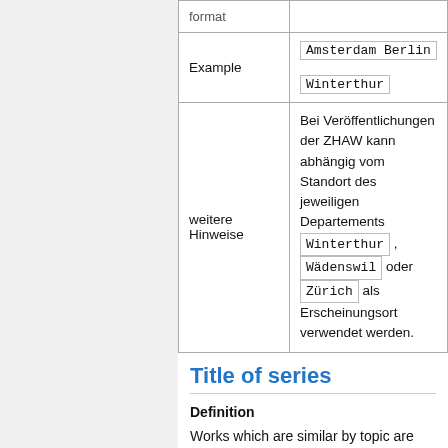|  |  |
| --- | --- |
|  | format |
| Example | Amsterdam Berlin
Winterthur |
| weitere Hinweise | Bei Veröffentlichungen der ZHAW kann abhängig vom Standort des jeweiligen Departements Winterthur , Wädenswil oder Zürich als Erscheinungsort verwendet werden. |
Title of series
Definition
Works which are similar by topic are often published in series.
Explanation